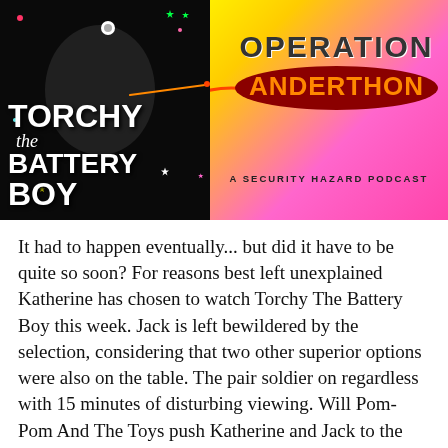[Figure (illustration): Podcast cover image split in two halves. Left half: black and white photo of Torchy the Battery Boy puppet on dark starry background with colorful star decorations and white bold text reading 'TORCHY the BATTERY BOY'. Right half: yellow-to-pink gradient background with 'OPERATION ANDERTHON' title (ANDERTHON in orange text on dark red oval) and subtitle 'A SECURITY HAZARD PODCAST'.]
It had to happen eventually... but did it have to be quite so soon? For reasons best left unexplained Katherine has chosen to watch Torchy The Battery Boy this week. Jack is left bewildered by the selection, considering that two other superior options were also on the table. The pair soldier on regardless with 15 minutes of disturbing viewing. Will Pom-Pom And The Toys push Katherine and Jack to the limit?